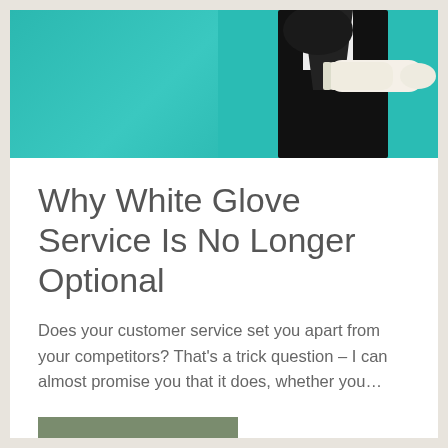[Figure (photo): Butler or server in black vest and white gloves extending a hand against a teal/turquoise background]
Why White Glove Service Is No Longer Optional
Does your customer service set you apart from your competitors? That's a trick question – I can almost promise you that it does, whether you…
More →